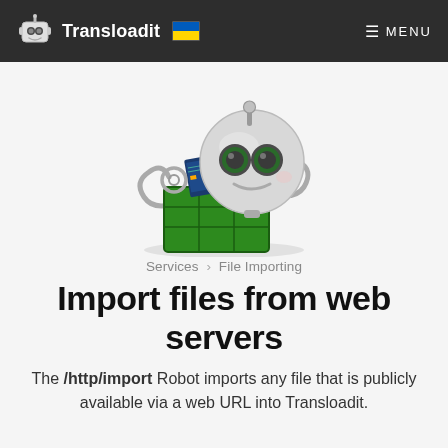Transloadit  MENU
[Figure (illustration): Transloadit robot mascot illustration: a round metallic robot head with green eyes holding a green crate with circuit boards, with a wire antenna on top]
Services › File Importing
Import files from web servers
The /http/import Robot imports any file that is publicly available via a web URL into Transloadit.